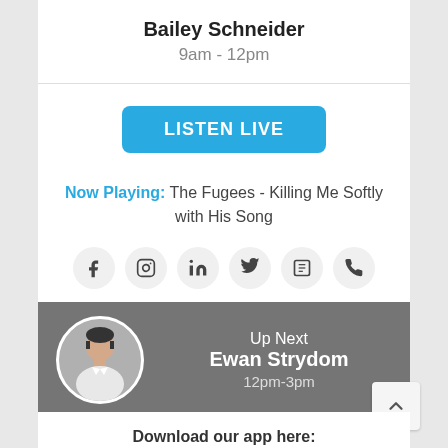Bailey Schneider
9am - 12pm
LISTEN LIVE
Now Playing: The Fugees - Killing Me Softly with His Song
[Figure (infographic): Row of six social media icon circles: Facebook, Instagram, LinkedIn, Twitter, a card/share icon, and phone icon]
[Figure (infographic): Up Next card with circular profile photo of a man in white shirt, showing Up Next, Ewan Strydom, 12pm-3pm]
Download our app here: